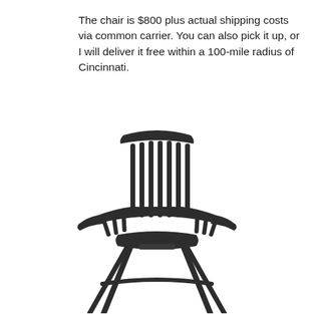The chair is $800 plus actual shipping costs via common carrier. You can also pick it up, or I will deliver it free within a 100-mile radius of Cincinnati.
[Figure (photo): Front-facing view of a dark grey/black Windsor-style wooden arm chair with vertical spindle back, curved crest rail, curved arms, and four splayed legs visible at the bottom.]